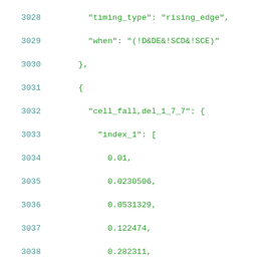Code listing lines 3028-3049 showing JSON data structure with timing_type, when, cell_fall, index_1, and index_2 fields